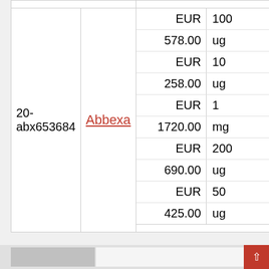| ID | Supplier | Price | Quantity |
| --- | --- | --- | --- |
| 20-abx653684 | Abbexa | EUR | 100 |
|  |  | 578.00 | ug |
|  |  | EUR | 10 |
|  |  | 258.00 | ug |
|  |  | EUR | 1 |
|  |  | 1720.00 | mg |
|  |  | EUR | 200 |
|  |  | 690.00 | ug |
|  |  | EUR | 50 |
|  |  | 425.00 | ug |